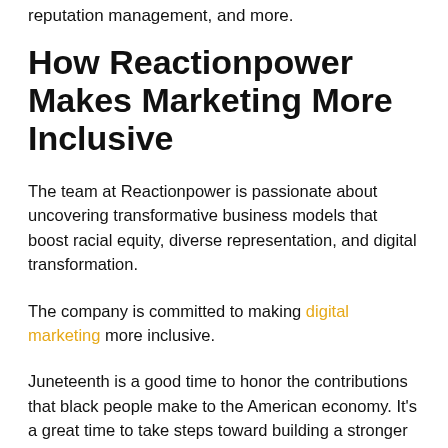reputation management, and more.
How Reactionpower Makes Marketing More Inclusive
The team at Reactionpower is passionate about uncovering transformative business models that boost racial equity, diverse representation, and digital transformation.
The company is committed to making digital marketing more inclusive.
Juneteenth is a good time to honor the contributions that black people make to the American economy. It's a great time to take steps toward building a stronger economic future for Black communities.